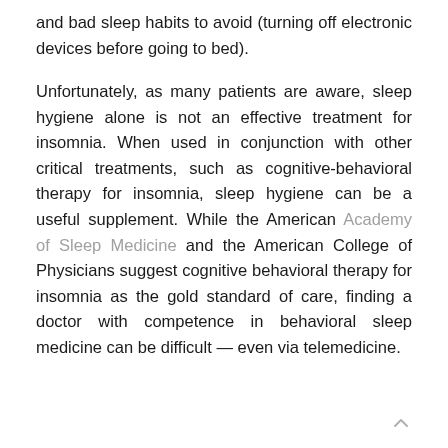and bad sleep habits to avoid (turning off electronic devices before going to bed).
Unfortunately, as many patients are aware, sleep hygiene alone is not an effective treatment for insomnia. When used in conjunction with other critical treatments, such as cognitive-behavioral therapy for insomnia, sleep hygiene can be a useful supplement. While the American Academy of Sleep Medicine and the American College of Physicians suggest cognitive behavioral therapy for insomnia as the gold standard of care, finding a doctor with competence in behavioral sleep medicine can be difficult — even via telemedicine.